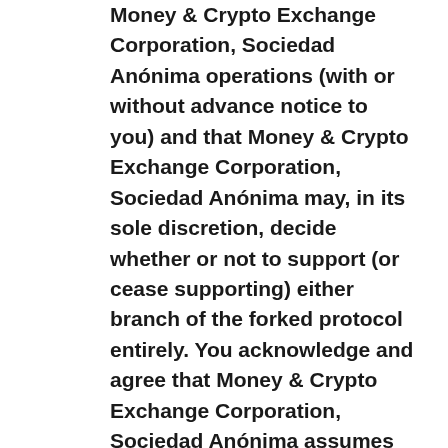Money & Crypto Exchange Corporation, Sociedad Anónima operations (with or without advance notice to you) and that Money & Crypto Exchange Corporation, Sociedad Anónima may, in its sole discretion, decide whether or not to support (or cease supporting) either branch of the forked protocol entirely. You acknowledge and agree that Money & Crypto Exchange Corporation, Sociedad Anónima assumes absolutely no responsibility whatsoever in respect of an unsupported branch of a forked protocol.
4.5. Reversals; Cancellations. You cannot cancel, reverse, or change any transaction marked as complete or pending. If your payment is not successful or if your payment method has insufficient funds, you authorise Money & Crypto